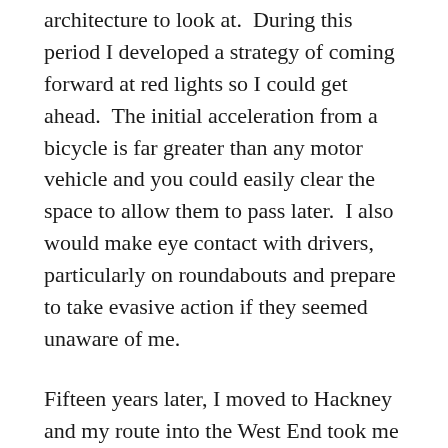architecture to look at.  During this period I developed a strategy of coming forward at red lights so I could get ahead.  The initial acceleration from a bicycle is far greater than any motor vehicle and you could easily clear the space to allow them to pass later.  I also would make eye contact with drivers, particularly on roundabouts and prepare to take evasive action if they seemed unaware of me.
Fifteen years later, I moved to Hackney and my route into the West End took me though Clerkenwell or Angel and I still get a thrill from freewheeling down the Bus Lane in Pentonville Road to Kings Cross.  In all that time I was only knocked off my bike twice.  Once near Old